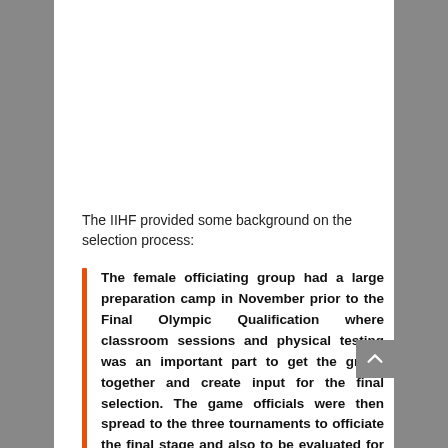The IIHF provided some background on the selection process:
The female officiating group had a large preparation camp in November prior to the Final Olympic Qualification where classroom sessions and physical testing was an important part to get the group together and create input for the final selection. The game officials were then spread to the three tournaments to officiate the final stage and also to be evaluated for the final selection of officials.